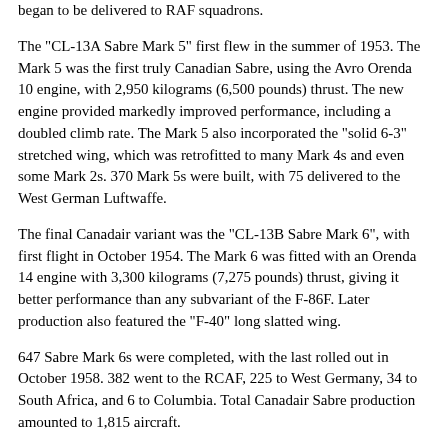began to be delivered to RAF squadrons.
The "CL-13A Sabre Mark 5" first flew in the summer of 1953. The Mark 5 was the first truly Canadian Sabre, using the Avro Orenda 10 engine, with 2,950 kilograms (6,500 pounds) thrust. The new engine provided markedly improved performance, including a doubled climb rate. The Mark 5 also incorporated the "solid 6-3" stretched wing, which was retrofitted to many Mark 4s and even some Mark 2s. 370 Mark 5s were built, with 75 delivered to the West German Luftwaffe.
The final Canadair variant was the "CL-13B Sabre Mark 6", with first flight in October 1954. The Mark 6 was fitted with an Orenda 14 engine with 3,300 kilograms (7,275 pounds) thrust, giving it better performance than any subvariant of the F-86F. Later production also featured the "F-40" long slatted wing.
647 Sabre Mark 6s were completed, with the last rolled out in October 1958. 382 went to the RCAF, 225 to West Germany, 34 to South Africa, and 6 to Columbia. Total Canadair Sabre production amounted to 1,815 aircraft.
CANADAIR SABRE MARK 6:
| spec | metric | english |
| --- | --- | --- |